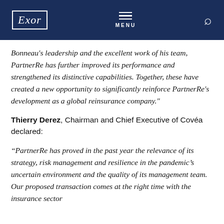Exor | MENU
Bonneau's leadership and the excellent work of his team, PartnerRe has further improved its performance and strengthened its distinctive capabilities. Together, these have created a new opportunity to significantly reinforce PartnerRe's development as a global reinsurance company."
Thierry Derez, Chairman and Chief Executive of Covéa declared:
“PartnerRe has proved in the past year the relevance of its strategy, risk management and resilience in the pandemic’s uncertain environment and the quality of its management team. Our proposed transaction comes at the right time with the insurance sector